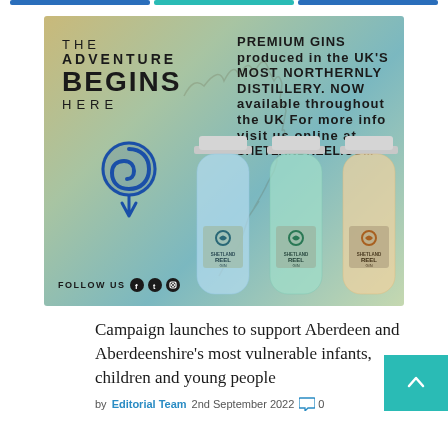[Figure (illustration): Shetland Reel Gin advertisement. Background is a watercolor map of Scotland. Left side reads: THE ADVENTURE BEGINS HERE with a blue spiral location pin logo. Right side reads: PREMIUM GINS produced in the UK'S MOST NORTHERNLY DISTILLERY. NOW available throughout the UK For more info visit us online at SHETLANDREEL.COM. Three gin bottles (Shetland Reel) in foreground. Bottom left: FOLLOW US with social media icons.]
Campaign launches to support Aberdeen and Aberdeenshire's most vulnerable infants, children and young people
by Editorial Team 2nd September 2022 0